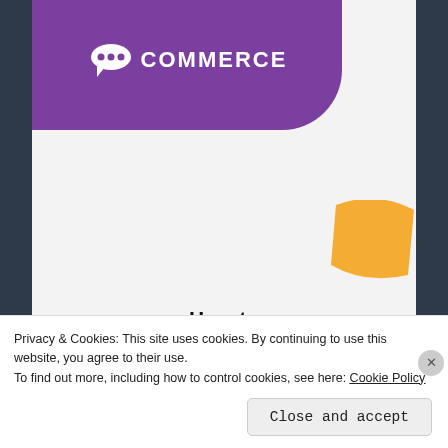[Figure (logo): WooCommerce logo on purple rounded background header, with orange decorative shape]
How to start selling subscriptions online
Start a new store
Privacy & Cookies: This site uses cookies. By continuing to use this website, you agree to their use.
To find out more, including how to control cookies, see here: Cookie Policy
Close and accept